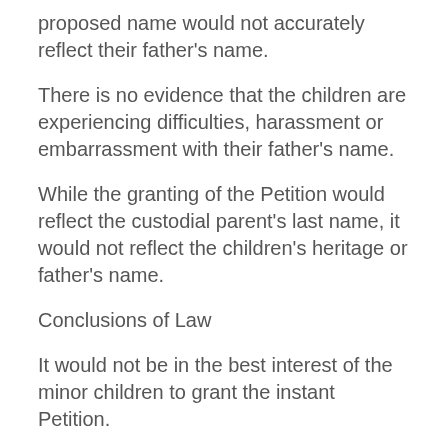proposed name would not accurately reflect their father's name.
There is no evidence that the children are experiencing difficulties, harassment or embarrassment with their father's name.
While the granting of the Petition would reflect the custodial parent's last name, it would not reflect the children's heritage or father's name.
Conclusions of Law
It would not be in the best interest of the minor children to grant the instant Petition.
Opinion and Order
The Court finds that petitioner has failed to prove the instant Name Change Petition would be in the children's best interest by a preponderance of the